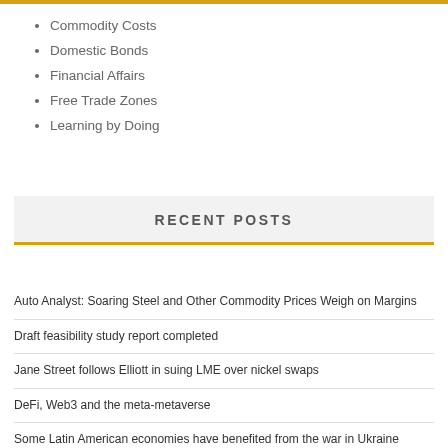Commodity Costs
Domestic Bonds
Financial Affairs
Free Trade Zones
Learning by Doing
RECENT POSTS
Auto Analyst: Soaring Steel and Other Commodity Prices Weigh on Margins
Draft feasibility study report completed
Jane Street follows Elliott in suing LME over nickel swaps
DeFi, Web3 and the meta-metaverse
Some Latin American economies have benefited from the war in Ukraine